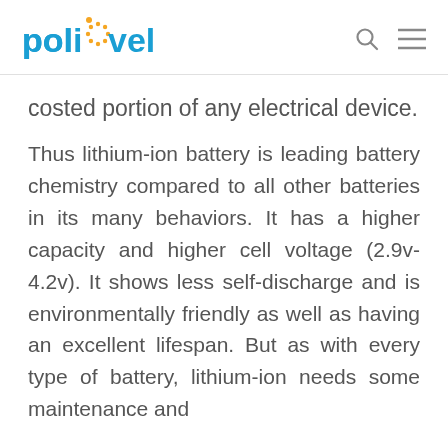POLINOVEL
costed portion of any electrical device.
Thus lithium-ion battery is leading battery chemistry compared to all other batteries in its many behaviors. It has a higher capacity and higher cell voltage (2.9v-4.2v). It shows less self-discharge and is environmentally friendly as well as having an excellent lifespan. But as with every type of battery, lithium-ion needs some maintenance and